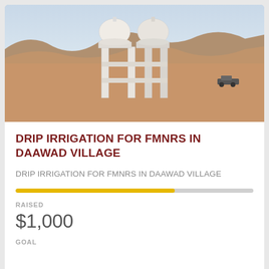[Figure (photo): Photo of a white water tower structure with two dome-shaped tanks on a concrete frame, set in a dry arid landscape with rocky hills in the background and a vehicle visible to the right.]
DRIP IRRIGATION FOR FMNRS IN DAAWAD VILLAGE
DRIP IRRIGATION FOR FMNRs IN DAAWAD VILLAGE
RAISED
$1,000
GOAL